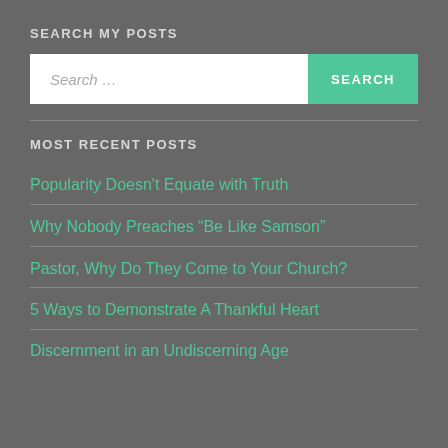SEARCH MY POSTS
Search ...
MOST RECENT POSTS
Popularity Doesn't Equate with Truth
Why Nobody Preaches “Be Like Samson”
Pastor, Why Do They Come to Your Church?
5 Ways to Demonstrate A Thankful Heart
Discernment in an Undiscerning Age